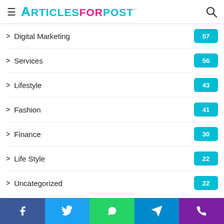ArticlesForPost
Digital Marketing 57
Services 56
Lifestyle 43
Fashion 41
Finance 30
Life Style 22
Uncategorized 22
Software 20
App Development 20
SEO 19
Gaming
Facebook Twitter WhatsApp Telegram Phone